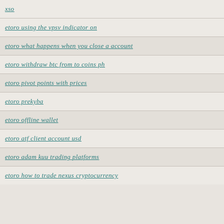xso
etoro using the vpsv indicator on
etoro what happens when you close a account
etoro withdraw btc from to coins ph
etoro pivot points with prices
etoro prekyba
etoro offline wallet
etoro atf client account usd
etoro adam kuu trading platforms
etoro how to trade nexus cryptocurrency